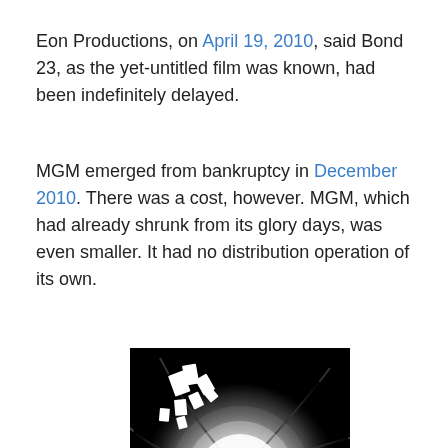Eon Productions, on April 19, 2010, said Bond 23, as the yet-untitled film was known, had been indefinitely delayed.
MGM emerged from bankruptcy in December 2010. There was a cost, however. MGM, which had already shrunk from its glory days, was even smaller. It had no distribution operation of its own.
[Figure (photo): Black and white photo of a silhouetted figure (James Bond) standing in the center of a gun barrel tunnel, with swirling dark metallic curves around a bright circular light behind the figure. The image is the iconic Skyfall promotional poster style.]